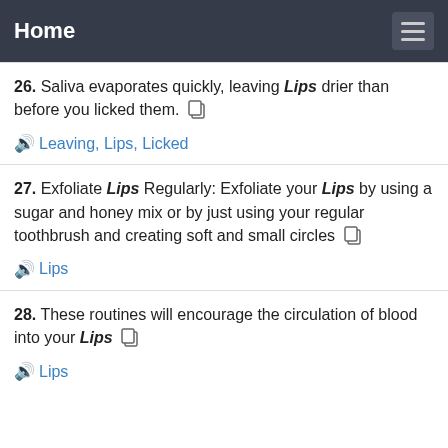Home
26. Saliva evaporates quickly, leaving Lips drier than before you licked them.
Leaving, Lips, Licked
27. Exfoliate Lips Regularly: Exfoliate your Lips by using a sugar and honey mix or by just using your regular toothbrush and creating soft and small circles
Lips
28. These routines will encourage the circulation of blood into your Lips
Lips